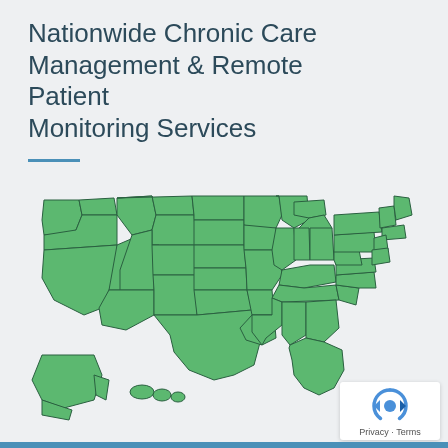Nationwide Chronic Care Management & Remote Patient Monitoring Services
[Figure (map): A green-filled map of the United States including Alaska and Hawaii, showing all 50 states outlined in dark teal/blue on a light grey background, indicating nationwide service coverage.]